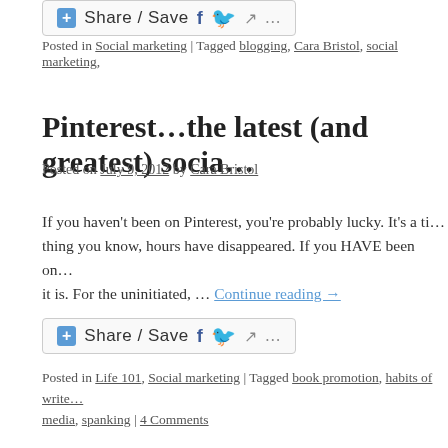[Figure (other): Share/Save social button bar at top of page, partially visible]
Posted in Social marketing | Tagged blogging, Cara Bristol, social marketing,
Pinterest…the latest (and greatest) socia…
Posted on July 9, 2012 by Cara Bristol
If you haven't been on Pinterest, you're probably lucky. It's a ti… thing you know, hours have disappeared. If you HAVE been on… it is. For the uninitiated, … Continue reading →
[Figure (other): Share/Save social button bar]
Posted in Life 101, Social marketing | Tagged book promotion, habits of write… media, spanking | 4 Comments